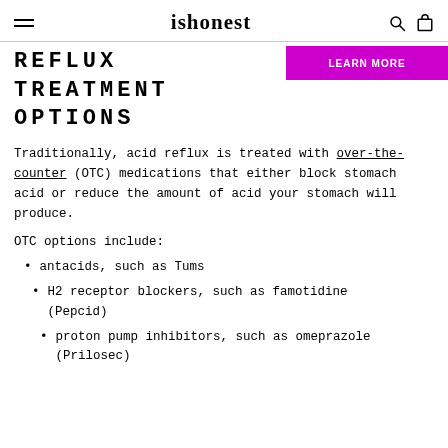ishonest
REFLUX TREATMENT OPTIONS
Traditionally, acid reflux is treated with over-the-counter (OTC) medications that either block stomach acid or reduce the amount of acid your stomach will produce.
OTC options include:
antacids, such as Tums
H2 receptor blockers, such as famotidine (Pepcid)
proton pump inhibitors, such as omeprazole (Prilosec)